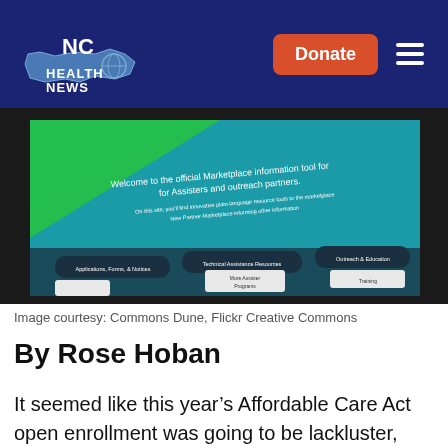NC Health News
[Figure (screenshot): Screenshot of the official Marketplace information tool for Assisters and outreach partners website, showing navigation including Applications Forms & Notices, Technical Assistance Resources, Outreach & Education, Training, and More Assister Programs sections on a teal/green background.]
Image courtesy: Commons Dune, Flickr Creative Commons
By Rose Hoban
It seemed like this year's Affordable Care Act open enrollment was going to be lackluster, after all, at the end of six weeks of the online marketplace being open